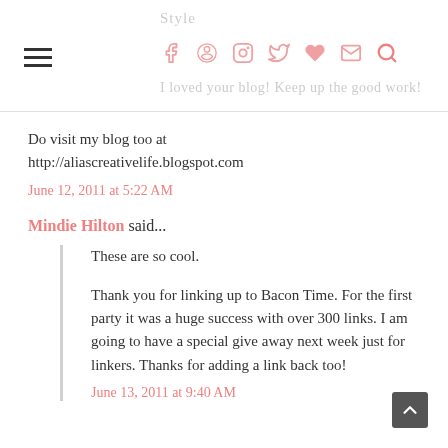Style | I loved your blog! Keep up the good work!
Do visit my blog too at http://aliascreativelife.blogspot.com
June 12, 2011 at 5:22 AM
Mindie Hilton said...
These are so cool.
Thank you for linking up to Bacon Time. For the first party it was a huge success with over 300 links. I am going to have a special give away next week just for linkers. Thanks for adding a link back too!
June 13, 2011 at 9:40 AM